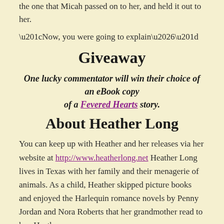the one that Micah passed on to her, and held it out to her.
“Now, you were going to explain…”
Giveaway
One lucky commentator will win their choice of an eBook copy of a Fevered Hearts story.
About Heather Long
You can keep up with Heather and her releases via her website at http://www.heatherlong.net Heather Long lives in Texas with her family and their menagerie of animals. As a child, Heather skipped picture books and enjoyed the Harlequin romance novels by Penny Jordan and Nora Roberts that her grandmother read to her. Heather